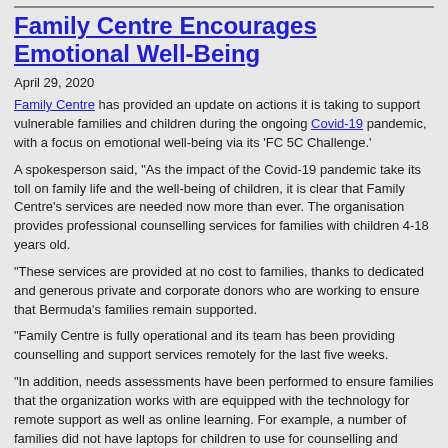Family Centre Encourages Emotional Well-Being
April 29, 2020
Family Centre has provided an update on actions it is taking to support vulnerable families and children during the ongoing Covid-19 pandemic, with a focus on emotional well-being via its ‘FC 5C Challenge.’
A spokesperson said, “As the impact of the Covid-19 pandemic take its toll on family life and the well-being of children, it is clear that Family Centre’s services are needed now more than ever. The organisation provides professional counselling services for families with children 4-18 years old.
“These services are provided at no cost to families, thanks to dedicated and generous private and corporate donors who are working to ensure that Bermuda’s families remain supported.
“Family Centre is fully operational and its team has been providing counselling and support services remotely for the last five weeks.
“In addition, needs assessments have been performed to ensure families that the organization works with are equipped with the technology for remote support as well as online learning. For example, a number of families did not have laptops for children to use for counselling and school work, nor internet access.
“Families who need to access immediate mental health resources can call the Emotional Well-being Hotline at 543-1111 daily from 9.00am to 9.00pm. Concerned families with